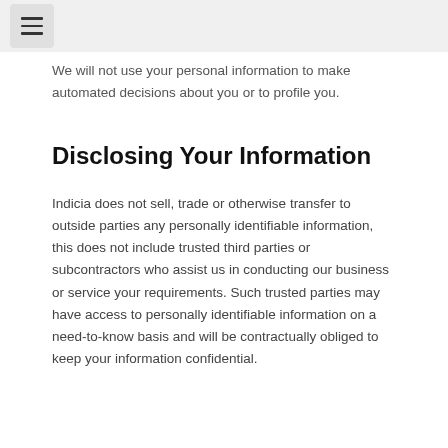☰
We will not use your personal information to make automated decisions about you or to profile you.
Disclosing Your Information
Indicia does not sell, trade or otherwise transfer to outside parties any personally identifiable information, this does not include trusted third parties or subcontractors who assist us in conducting our business or service your requirements. Such trusted parties may have access to personally identifiable information on a need-to-know basis and will be contractually obliged to keep your information confidential.